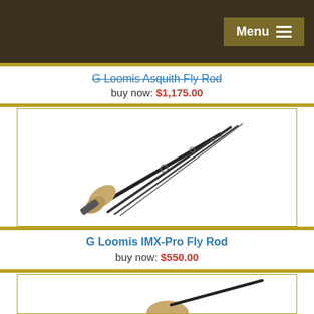Menu
G Loomis Asquith Fly Rod
buy now: $1,175.00
[Figure (photo): G Loomis IMX-Pro Fly Rod product photo showing four disassembled graphite rod sections with cork grip handle]
G Loomis IMX-Pro Fly Rod
buy now: $550.00
[Figure (photo): Partial view of another fly rod product with cork grip, bottom of page]